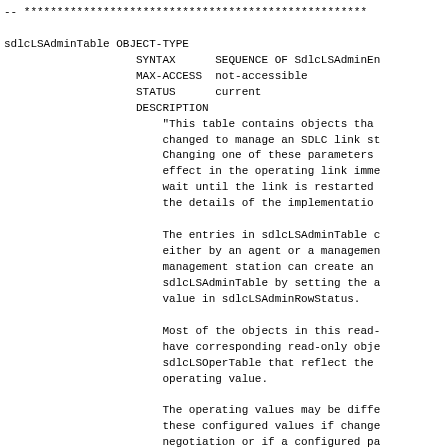-- ************************************************************

sdlcLSAdminTable OBJECT-TYPE
                    SYNTAX      SEQUENCE OF SdlcLSAdminEn
                    MAX-ACCESS  not-accessible
                    STATUS      current
                    DESCRIPTION
                        "This table contains objects tha
                        changed to manage an SDLC link s
                        Changing one of these parameters
                        effect in the operating link imm
                        wait until the link is restarted
                        the details of the implementatio

                        The entries in sdlcLSAdminTable 
                        either by an agent or a manageme
                        management station can create an
                        sdlcLSAdminTable by setting the 
                        value in sdlcLSAdminRowStatus.

                        Most of the objects in this read
                        have corresponding read-only obj
                        sdlcLSOperTable that reflect the
                        operating value.

                        The operating values may be diffe
                        these configured values if change
                        negotiation or if a configured p
                        changed after the link was starte
                    ::= { sdlcLSGroup 1 }